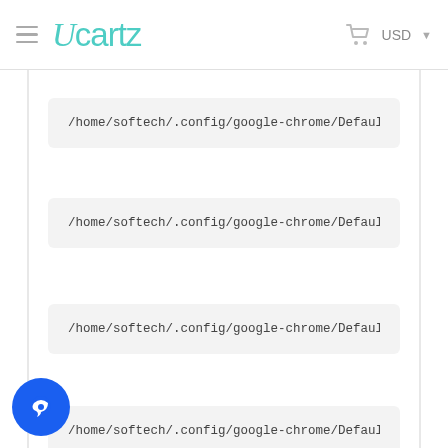Ucartz — USD
/home/softech/.config/google-chrome/Default
/home/softech/.config/google-chrome/Default
/home/softech/.config/google-chrome/Default
/home/softech/.config/google-chrome/Default